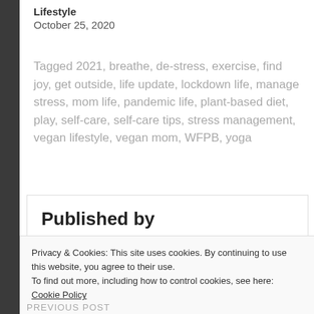Lifestyle
October 25, 2020
Tagged 2021, breathe, de-stress, exercise, find joy, get outside, life update, lockdown life, manage stress, mom life, pandemic life, plant-based diet, play, self-care, self-care tips, stress management, vegan lifestyle, vegan mom, WFPB, yoga
Published by
Privacy & Cookies: This site uses cookies. By continuing to use this website, you agree to their use.
To find out more, including how to control cookies, see here: Cookie Policy
Close and accept
PREVIOUS POST